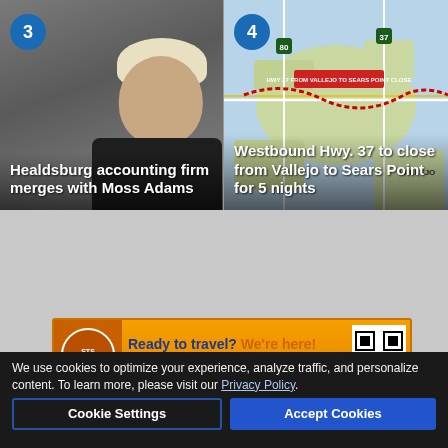[Figure (photo): Card 3: Blonde woman with short hair, gray background, numbered badge '3']
Healdsburg accounting firm merges with Moss Adams
[Figure (map): Card 4: Road map showing Hwy 37 area near Vallejo/Sears Point, numbered badge '4']
Westbound Hwy. 37 to close from Vallejo to Sears Point for 5 nights
[Figure (infographic): Advertisement banner: Ready to travel? We're here! BOOK NOW www.flySTS.com with QR code]
Her org... ...ch
We use cookies to optimize your experience, analyze traffic, and personalize content. To learn more, please visit our Privacy Policy.
Cookie Settings
Accept Cookies